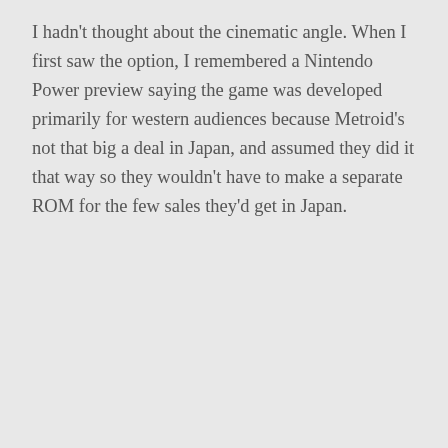I hadn't thought about the cinematic angle. When I first saw the option, I remembered a Nintendo Power preview saying the game was developed primarily for western audiences because Metroid's not that big a deal in Japan, and assumed they did it that way so they wouldn't have to make a separate ROM for the few sales they'd get in Japan.
REPLY ↓
Mato  September 13, 2013 at 8:42 pm
Not in the case of Zelda but that's definitely another thing I noticed after watching lots of Japanese movies.
With Zelda, the way it introduces bosses with their names + a little tidbit of info is sometimes done with movies, like I remember watching the Japanese version of